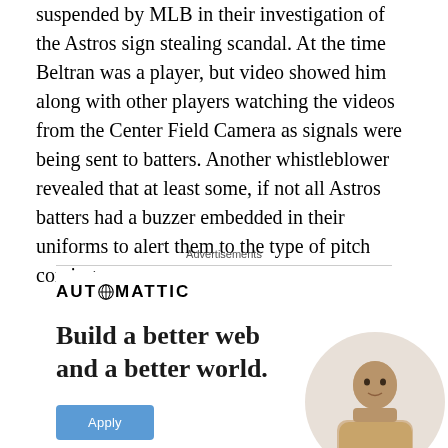suspended by MLB in their investigation of the Astros sign stealing scandal. At the time Beltran was a player, but video showed him along with other players watching the videos from the Center Field Camera as signals were being sent to batters. Another whistleblower revealed that at least some, if not all Astros batters had a buzzer embedded in their uniforms to alert them to the type of pitch coming.
Advertisements
[Figure (other): Automattic advertisement showing logo, tagline 'Build a better web and a better world.' with an Apply button and a photo of a person]